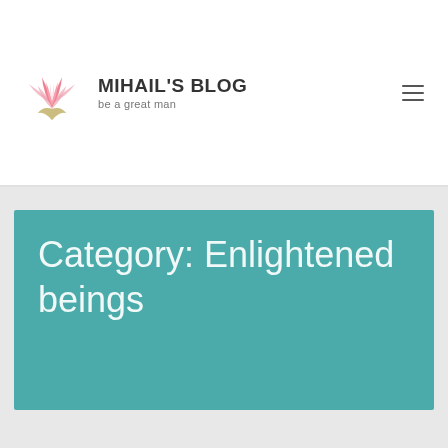MIHAIL'S BLOG — be a great man
Category: Enlightened beings